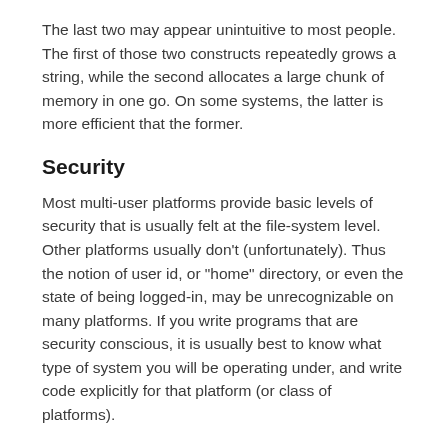The last two may appear unintuitive to most people. The first of those two constructs repeatedly grows a string, while the second allocates a large chunk of memory in one go. On some systems, the latter is more efficient that the former.
Security
Most multi-user platforms provide basic levels of security that is usually felt at the file-system level. Other platforms usually don't (unfortunately). Thus the notion of user id, or "home" directory, or even the state of being logged-in, may be unrecognizable on many platforms. If you write programs that are security conscious, it is usually best to know what type of system you will be operating under, and write code explicitly for that platform (or class of platforms).
Style
For those times when it is necessary to have platform-